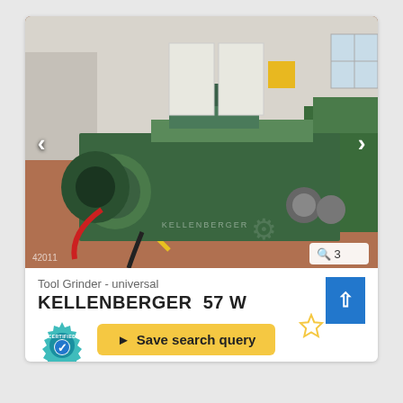[Figure (photo): Kellenberger 57W universal tool grinder machine in a workshop setting, painted green, on a red/brown floor. Machine is shown from the front-left angle. Navigation arrows (< >) visible on left and right sides of image. Photo badge showing magnifier icon and '3' in bottom-right. ID '42011' at bottom-left.]
Tool Grinder - universal
KELLENBERGER  57 W
[Figure (infographic): Star (favorite) icon in gold/yellow outline, and a blue upload/share arrow button to its right.]
Save search query
[Figure (logo): Certified badge: teal gear icon with 'CERTIFIED' text and a blue checkmark in the center.]